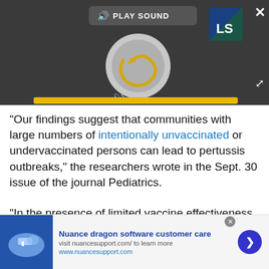[Figure (screenshot): Audio/media player UI with dark gray background, 'PLAY SOUND' button at top, circular spinner/play graphic in center, mute icon, LS logo in top right, yellow progress bar at bottom, close X button top right, expand arrows bottom right]
"Our findings suggest that communities with large numbers of intentionally unvaccinated or undervaccinated persons can lead to pertussis outbreaks," the researchers wrote in the Sept. 30 issue of the journal Pediatrics.
"In the presence of limited vaccine effectiveness and waning immunity, sustained community level transmission can occur, putting those who are most susceptible to communicable diseases, such as youn
[Figure (screenshot): Advertisement banner for Nuance dragon software customer care with blue image on left showing hands on keyboard, bold blue title text, subtitle and URL, and blue circular arrow button on right]